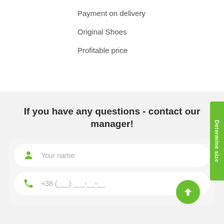Payment on delivery
Original Shoes
Profitable price
If you have any questions - contact our manager!
Your name
+38 (___) ___-__-__